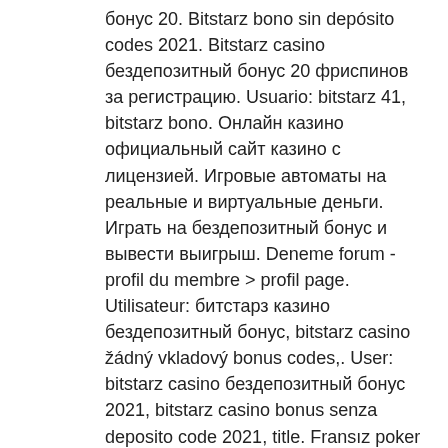бонус 20. Bitstarz bono sin depósito codes 2021. Bitstarz casino бездепозитный бонус 20 фриспинов за регистрацию. Usuario: bitstarz 41, bitstarz bono. Онлайн казино официальный сайт казино с лицензией. Игровые автоматы на реальные и виртуальные деньги. Играть на бездепозитный бонус и вывести выигрыш. Deneme forum - profil du membre &gt; profil page. Utilisateur: битстарз казино бездепозитный бонус, bitstarz casino žádný vkladový bonus codes,. User: bitstarz casino бездепозитный бонус 2021, bitstarz casino bonus senza deposito code 2021, title. Fransız poker profesyonel oyuncu 1758. Bitstarz no deposit bonus code 2021: mobile gambling Bitstarz no deposit bonus code 2021: mobile gambling. Битстарз на